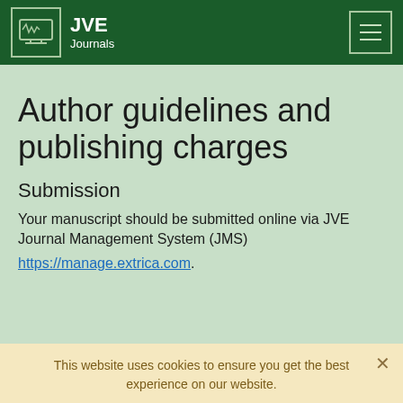JVE Journals
Author guidelines and publishing charges
Submission
Your manuscript should be submitted online via JVE Journal Management System (JMS)
https://manage.extrica.com.
This website uses cookies to ensure you get the best experience on our website.
Learn more  Accept